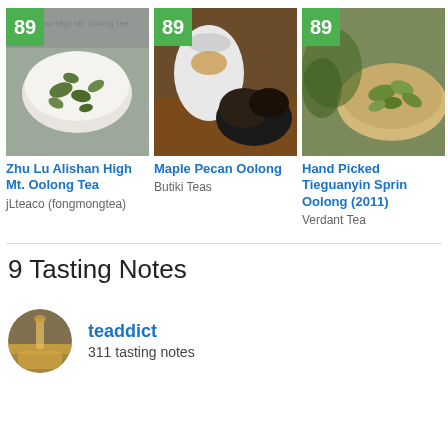[Figure (photo): Tea leaves in white bowl with score badge 89 - Zhu Lu Alishan High Mt. Oolong Tea]
Zhu Lu Alishan High Mt. Oolong Tea
jLteaco (fongmongtea)
[Figure (photo): Dark loose leaf tea with white teapot and score badge 89 - Maple Pecan Oolong]
Maple Pecan Oolong
Butiki Teas
[Figure (photo): Green oolong tea leaves in bowl with score badge 89 - Hand Picked Tieguanyin Spring Oolong (2011)]
Hand Picked Tieguanyin Spring Oolong (2011)
Verdant Tea
9 Tasting Notes
[Figure (photo): Circular avatar photo of tea being poured]
teaddict
311 tasting notes